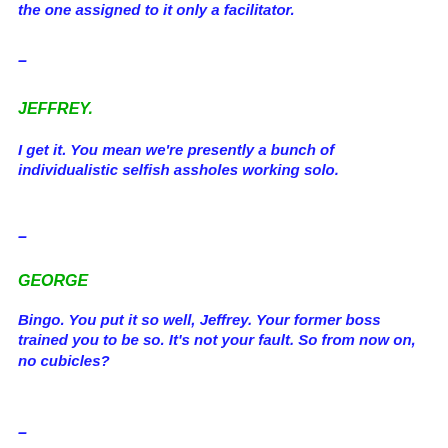the one assigned to it only a facilitator.
–
JEFFREY.
I get it. You mean we're presently a bunch of individualistic selfish assholes working solo.
–
GEORGE
Bingo. You put it so well, Jeffrey. Your former boss trained you to be so. It's not your fault. So from now on, no cubicles?
–